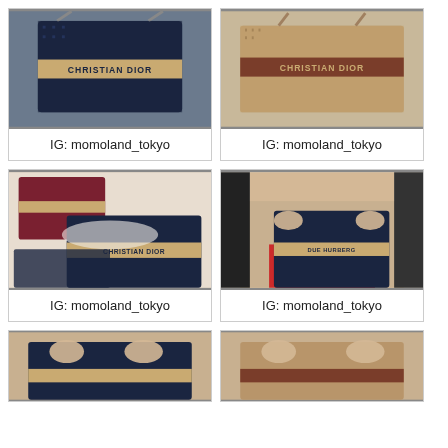[Figure (photo): Christian Dior navy blue oblique pattern tote bag held by a person, store setting]
IG: momoland_tokyo
[Figure (photo): Christian Dior brown oblique pattern tote bag displayed on a surface in a store]
IG: momoland_tokyo
[Figure (photo): Multiple Christian Dior oblique pattern items including bags and accessories on a table]
IG: momoland_tokyo
[Figure (photo): Person holding a Christian Dior oblique pattern tote bag, wearing a beige coat, red skirt visible]
IG: momoland_tokyo
[Figure (photo): Partial view of person holding a Christian Dior bag, cropped at bottom]
[Figure (photo): Partial view of person holding a Christian Dior bag, cropped at bottom]